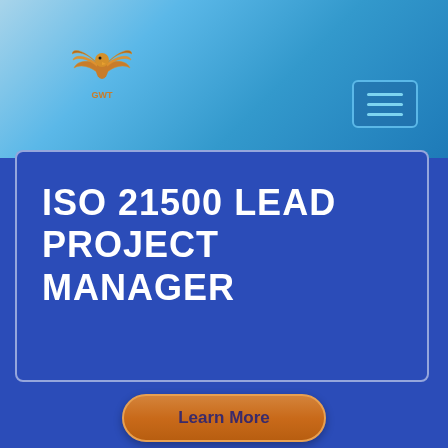[Figure (logo): GWT winged logo in gold/orange color with wings and text 'GWT' below]
[Figure (other): Hamburger menu button with three horizontal lines, teal border on dark blue background]
ISO 21500 LEAD PROJECT MANAGER
[Figure (other): Orange rounded 'Learn More' button]